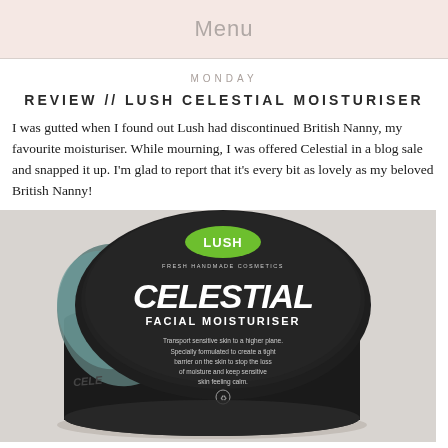Menu
MONDAY
REVIEW // LUSH CELESTIAL MOISTURISER
I was gutted when I found out Lush had discontinued British Nanny, my favourite moisturiser. While mourning, I was offered Celestial in a blog sale and snapped it up. I'm glad to report that it's every bit as lovely as my beloved British Nanny!
[Figure (photo): A black circular Lush Celestial Facial Moisturiser pot with lid partially open, showing the green Lush logo, product name in white text, and product description on a light grey background.]